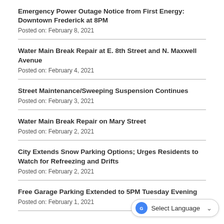Emergency Power Outage Notice from First Energy: Downtown Frederick at 8PM
Posted on: February 8, 2021
Water Main Break Repair at E. 8th Street and N. Maxwell Avenue
Posted on: February 4, 2021
Street Maintenance/Sweeping Suspension Continues
Posted on: February 3, 2021
Water Main Break Repair on Mary Street
Posted on: February 2, 2021
City Extends Snow Parking Options; Urges Residents to Watch for Refreezing and Drifts
Posted on: February 2, 2021
Free Garage Parking Extended to 5PM Tuesday Evening
Posted on: February 1, 2021